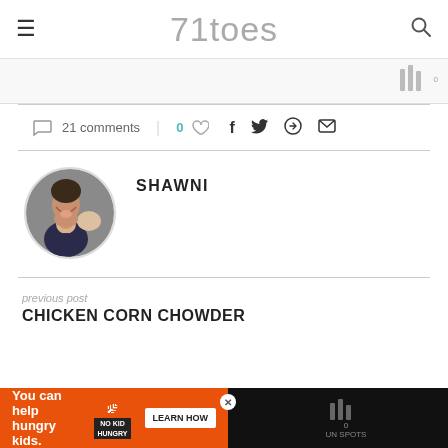71toes
21 comments | 0 ♡ f t ⊕ ✉
[Figure (photo): Circular avatar photo of author Shawni, a woman smiling with a child kissing her cheek]
SHAWNI
previous post
CHICKEN CORN CHOWDER
[Figure (infographic): Orange advertisement banner: 'You can help hungry kids.' with No Kid Hungry logo and LEARN HOW button]